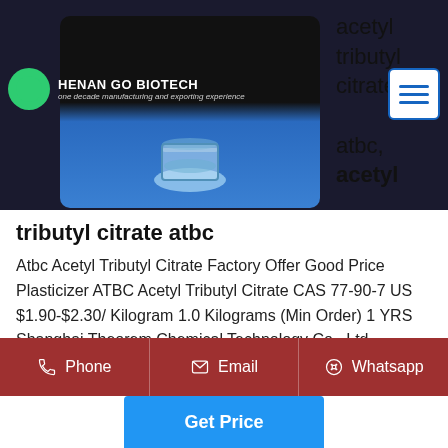[Figure (logo): Henan Go Biotech logo — green circle with white C-shape icon, company name in white bold text, tagline: one decade manufacturing and exporting experience]
[Figure (photo): Product photo: a glass beaker/container on blue background inside a dark-topped card overlay]
acetyl tributyl citrate atbc, acetyl
tributyl citrate atbc
Atbc Acetyl Tributyl Citrate Factory Offer Good Price Plasticizer ATBC Acetyl Tributyl Citrate CAS 77-90-7 US $1.90-$2.30/ Kilogram 1.0 Kilograms (Min Order) 1 YRS Shanghai Theorem Chemical Technology Co., Ltd.
Phone  Email  Whatsapp  Get Price